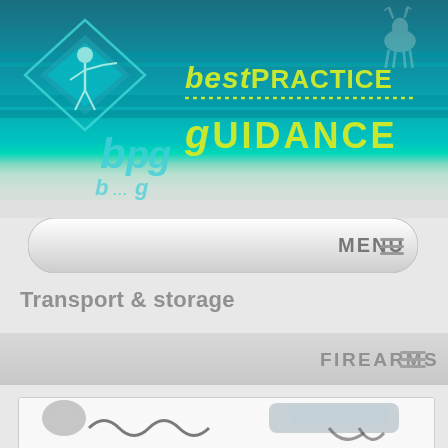[Figure (logo): Best Practice Guidance (BPG) website header banner with teal/turquoise gradient background, BPG logo with diamond shapes and archer figure on the left, 'best practice guidance' text in lime green on the right, deer silhouette in top right corner]
[Figure (screenshot): Navigation menu bar with rounded rectangle shape, gray gradient background, MENU label with hamburger icon on the right]
Transport & storage
[Figure (screenshot): FIREARMS navigation bar with gray background and hamburger menu icon on the right]
[Figure (photo): Partially visible photo of disassembled firearm components including a recoil spring and gun barrel/receiver, shown against white background]